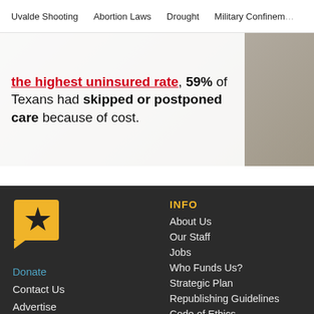Uvalde Shooting   Abortion Laws   Drought   Military Confinement
[Figure (photo): Article image with text overlay: 'the highest uninsured rate, 59% of Texans had skipped or postponed care because of cost.' Partial text in red underlined: 'the highest uninsured rate'. Background shows blurred hands/body image.]
Donate
Contact Us
Advertise
Send us a confidential tip
INFO
About Us
Our Staff
Jobs
Who Funds Us?
Strategic Plan
Republishing Guidelines
Code of Ethics